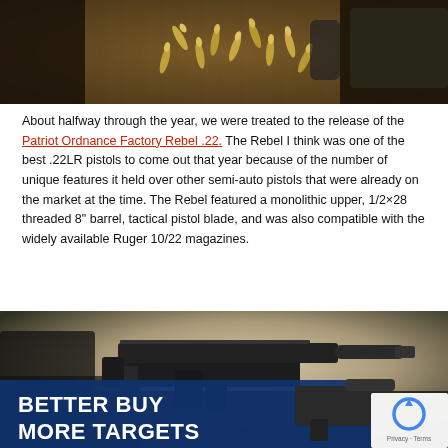[Figure (photo): Photo of bullets/ammunition scattered on a wooden surface with a dark pistol magazine on the right and a firearm part on the left]
About halfway through the year, we were treated to the release of the Patriot Ordnance Factory Rebel .22. The Rebel I think was one of the best .22LR pistols to come out that year because of the number of unique features it held over other semi-auto pistols that were already on the market at the time. The Rebel featured a monolithic upper, 1/2×28 threaded 8" barrel, tactical pistol blade, and was also compatible with the widely available Ruger 10/22 magazines.
[Figure (photo): Photo of a .22LR pistol (Patriot Ordnance Factory Rebel .22) on a shooting range surface with a blue promotional banner overlay reading BETTER BUY MORE TARGETS, and a reCAPTCHA badge in the lower right corner]